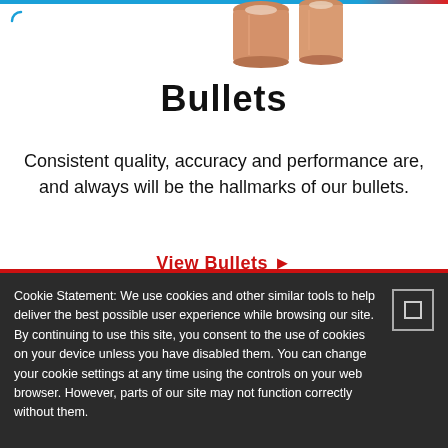[Figure (photo): Partial view of copper/gold bullet tips at the top of the page]
Bullets
Consistent quality, accuracy and performance are, and always will be the hallmarks of our bullets.
View Bullets ▶
[Figure (photo): A single red-tipped bullet pointing upward, partially visible at the bottom center of the white area]
Cookie Statement: We use cookies and other similar tools to help deliver the best possible user experience while browsing our site. By continuing to use this site, you consent to the use of cookies on your device unless you have disabled them. You can change your cookie settings at any time using the controls on your web browser. However, parts of our site may not function correctly without them.